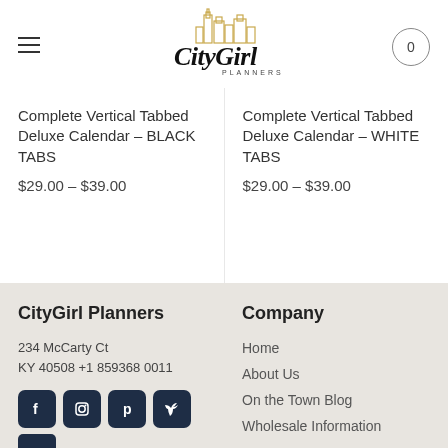[Figure (logo): CityGirl Planners logo with gold city skyline outline and cursive script text]
Complete Vertical Tabbed Deluxe Calendar – BLACK TABS
$29.00 – $39.00
Complete Vertical Tabbed Deluxe Calendar – WHITE TABS
$29.00 – $39.00
CityGirl Planners
234 McCarty Ct
KY 40508 +1 859368 0011
[Figure (illustration): Social media icon buttons: Facebook, Instagram, Pinterest, Twitter (dark navy rounded squares), plus partial fifth icon]
Company
Home
About Us
On the Town Blog
Wholesale Information